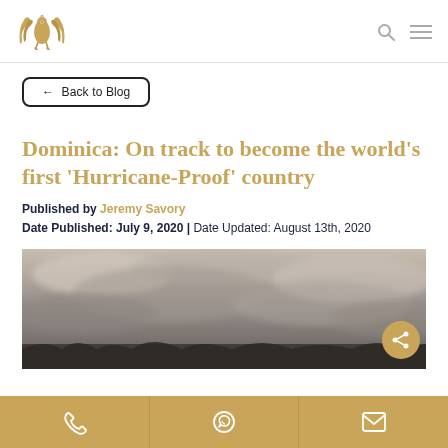[Logo] [Search icon] [Menu icon]
← Back to Blog
Dominica: On track to become the world's first 'Hurricane-Proof' country
Published by Jeremy Savory
Date Published: July 9, 2020 | Date Updated: August 13th, 2020
[Figure (photo): Dramatic stormy sky with dark clouds, suggesting a hurricane or severe weather event]
[Phone icon] [WhatsApp icon] [Email icon]